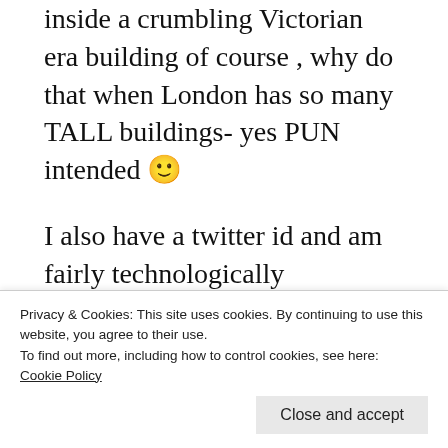inside a crumbling Victorian era building of course , why do that when London has so many TALL buildings- yes PUN intended 🙂
I also have a twitter id and am fairly technologically challenged and therefore will not be able to smarten this blog up and am under training , rather have forced myself to be trained by a rather sweet buddy of mine and my hubby's for that matter , so if there's any hanky panky
Privacy & Cookies: This site uses cookies. By continuing to use this website, you agree to their use.
To find out more, including how to control cookies, see here:
Cookie Policy
Close and accept